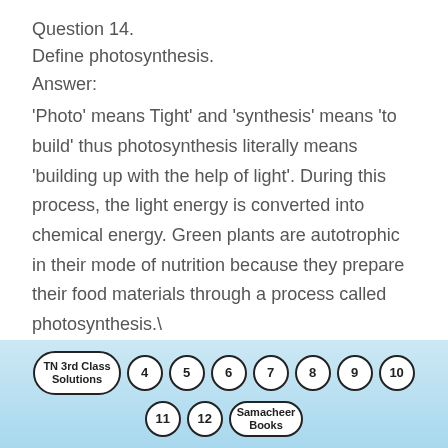Question 14.
Define photosynthesis.
Answer:
'Photo' means Tight' and 'synthesis' means 'to build' thus photosynthesis literally means 'building up with the help of light'. During this process, the light energy is converted into chemical energy. Green plants are autotrophic in their mode of nutrition because they prepare their food materials through a process called photosynthesis.\
TN 3rd Class Solutions | 4 | 5 | 6 | 7 | 8 | 9 | 10 | 11 | 12 | Samacheer Books